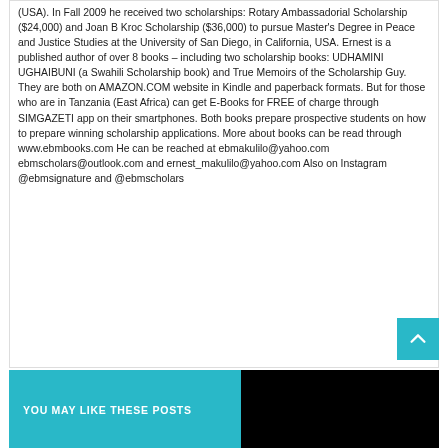(USA). In Fall 2009 he received two scholarships: Rotary Ambassadorial Scholarship ($24,000) and Joan B Kroc Scholarship ($36,000) to pursue Master's Degree in Peace and Justice Studies at the University of San Diego, in California, USA. Ernest is a published author of over 8 books – including two scholarship books: UDHAMINI UGHAIBUNI (a Swahili Scholarship book) and True Memoirs of the Scholarship Guy. They are both on AMAZON.COM website in Kindle and paperback formats. But for those who are in Tanzania (East Africa) can get E-Books for FREE of charge through SIMGAZETI app on their smartphones. Both books prepare prospective students on how to prepare winning scholarship applications. More about books can be read through www.ebmbooks.com He can be reached at ebmakulilo@yahoo.com ebmscholars@outlook.com and ernest_makulilo@yahoo.com Also on Instagram @ebmsignature and @ebmscholars
YOU MAY LIKE THESE POSTS